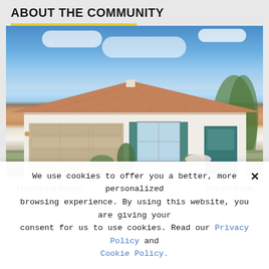ABOUT THE COMMUNITY
[Figure (photo): Exterior rendering of a single-story home with terra cotta tile roof, white stucco walls, teal shutters and front door, large two-car garage, and desert landscaping under blue sky.]
Heartland Ranch	Priced from
We use cookies to offer you a better, more personalized browsing experience. By using this website, you are giving your consent for us to use cookies. Read our Privacy Policy and Cookie Policy.